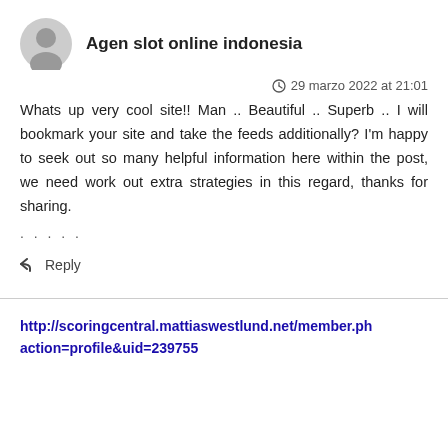Agen slot online indonesia
29 marzo 2022 at 21:01
Whats up very cool site!! Man .. Beautiful .. Superb .. I will bookmark your site and take the feeds additionally? I'm happy to seek out so many helpful information here within the post, we need work out extra strategies in this regard, thanks for sharing.
. . . . .
Reply
http://scoringcentral.mattiaswestlund.net/member.php?action=profile&uid=239755